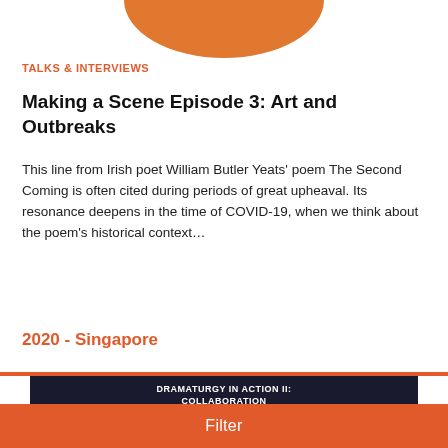[Figure (illustration): Orange arch/shape at top of page]
TALKS & INTERVIEWS
Making a Scene Episode 3: Art and Outbreaks
This line from Irish poet William Butler Yeats’ poem The Second Coming is often cited during periods of great upheaval. Its resonance deepens in the time of COVID-19, when we think about the poem’s historical context…
2020 - Singapore
[Figure (screenshot): Slide showing 'DRAMATURGY IN ACTION II: COLLABORATION' with bullet points about The Necessary Stage's Dramaturgical Mechanism, Dramaturg as Cultural Mediator in an Intercultural Collaboration, and Dramaturg in Interdisciplinary]
Filter